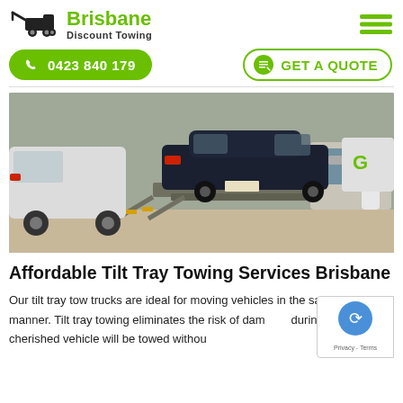[Figure (logo): Brisbane Discount Towing logo with tow truck icon and green Brisbane text]
[Figure (other): Hamburger menu icon in green]
[Figure (other): Green phone button with number 0423 840 179]
[Figure (other): GET A QUOTE button with green border]
[Figure (photo): A dark blue/black Honda car being loaded onto a tilt tray tow truck, with other vehicles in the background and a worker on the right]
Affordable Tilt Tray Towing Services Brisbane
Our tilt tray tow trucks are ideal for moving vehicles in the safest possible manner. Tilt tray towing eliminates the risk of dam during towing. Your cherished vehicle will be towed withou